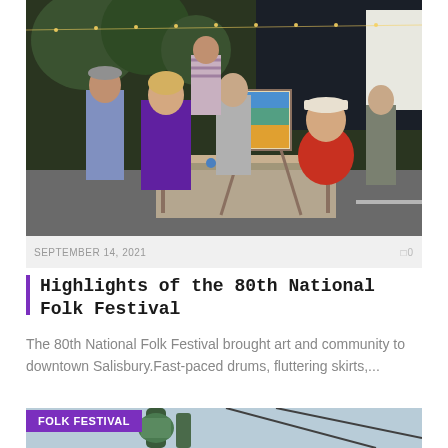[Figure (photo): Outdoor festival scene at night with people gathered around an artist painting at a table. A woman in a purple jacket stands talking to the artist in a red shirt wearing a cap. String lights and festival tents visible in the background.]
SEPTEMBER 14, 2021
0
Highlights of the 80th National Folk Festival
The 80th National Folk Festival brought art and community to downtown Salisbury.Fast-paced drums, fluttering skirts,...
[Figure (photo): Bottom portion of a second photo showing festival equipment with a FOLK FESTIVAL label tag in purple overlay at the top left.]
FOLK FESTIVAL